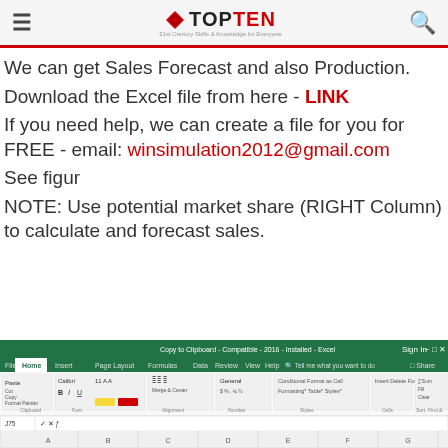≡ TOPTEN [logo] Q
We can get Sales Forecast and also Production.
Download the Excel file from here - LINK
If you need help, we can create a file for you for FREE - email: winsimulation2012@gmail.com
See figur
NOTE: Use potential market share (RIGHT Column) to calculate and forecast sales.
[Figure (screenshot): Microsoft Excel spreadsheet screenshot showing the Home ribbon toolbar with tabs: File, Home, Insert, Page Layout, Formulas, Data, Review, View, Help. The spreadsheet has column headers A through H visible at the bottom.]